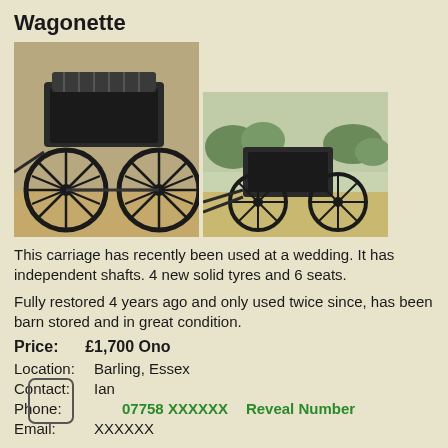Wagonette
[Figure (photo): Two photographs of a Wagonette carriage. Left photo shows a side view of the black carriage with large spoke wheels on a dirt ground. Right photo shows another angle of the same carriage outdoors with greenery in the background.]
This carriage has recently been used at a wedding. It has independent shafts. 4 new solid tyres and 6 seats.
Fully restored 4 years ago and only used twice since, has been barn stored and in great condition.
Price:      £1,700 Ono
Location:  Barling, Essex
Contact:   Ian
Phone:     07758 XXXXXX    Reveal Number
Email:      XXXXXX